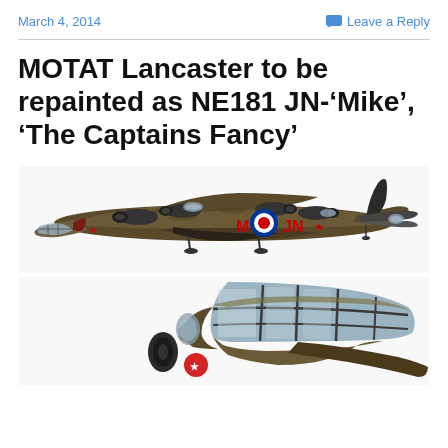March 4, 2014   Leave a Reply
MOTAT Lancaster to be repainted as NE181 JN-‘Mike’, ‘The Captains Fancy’
[Figure (illustration): Side-view illustration of a Lancaster bomber aircraft with dark olive/brown camouflage paint, markings M, roundel, JN on fuselage]
[Figure (illustration): Close-up front/angled illustration of Lancaster bomber nose and cockpit section]